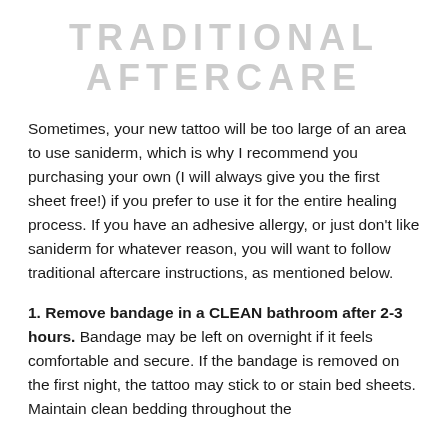TRADITIONAL AFTERCARE
Sometimes, your new tattoo will be too large of an area to use saniderm, which is why I recommend you purchasing your own (I will always give you the first sheet free!) if you prefer to use it for the entire healing process. If you have an adhesive allergy, or just don't like saniderm for whatever reason, you will want to follow traditional aftercare instructions, as mentioned below.
1. Remove bandage in a CLEAN bathroom after 2-3 hours. Bandage may be left on overnight if it feels comfortable and secure. If the bandage is removed on the first night, the tattoo may stick to or stain bed sheets. Maintain clean bedding throughout the